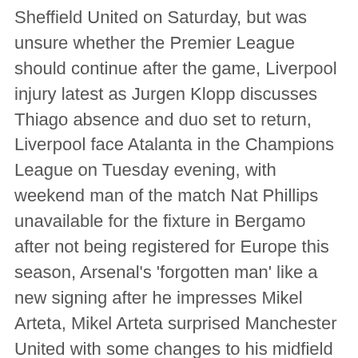Sheffield United on Saturday, but was unsure whether the Premier League should continue after the game, Liverpool injury latest as Jurgen Klopp discusses Thiago absence and duo set to return, Liverpool face Atalanta in the Champions League on Tuesday evening, with weekend man of the match Nat Phillips unavailable for the fixture in Bergamo after not being registered for Europe this season, Arsenal's 'forgotten man' like a new signing after he impresses Mikel Arteta, Mikel Arteta surprised Manchester United with some changes to his midfield for this weekend's clash at Old Trafford, and Arsenal came away with all three points, Paul Pogba blames Arsenal's tactics for Manchester United defeat, Arsenal striker Pierre-Emerick Aubameyang scored the only goal of the game from the penalty spot in what was a closely-contested match against Manchester United, Ole Gunnar Solskjaer's first 100 games compared to Sir Alex Ferguson and Man Utd bosses, Solskjaer is under pressure after Arsenal inflicted Manchester United's third Premier League